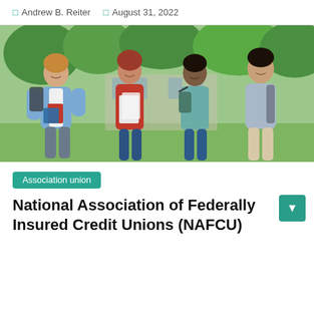Andrew B. Reiter   August 31, 2022
[Figure (photo): Four smiling college students walking outdoors on a campus, carrying books and backpacks, with green trees in the background.]
Association union
National Association of Federally Insured Credit Unions (NAFCU)